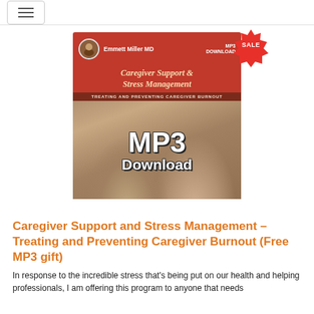Navigation menu button
[Figure (illustration): Product cover image for 'Caregiver Support & Stress Management – Treating and Preventing Caregiver Burnout' MP3 Download by Emmett Miller MD, showing two women's faces and large 'MP3 Download' text overlay, with a red SALE starburst badge in the top right corner]
Caregiver Support and Stress Management – Treating and Preventing Caregiver Burnout (Free MP3 gift)
In response to the incredible stress that's being put on our health and helping professionals, I am offering this program to anyone that needs